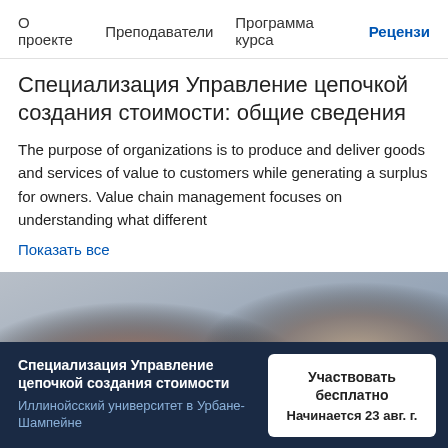О проекте  Преподаватели  Программа курса  Рецензии
Специализация Управление цепочкой создания стоимости: общие сведения
The purpose of organizations is to produce and deliver goods and services of value to customers while generating a surplus for owners. Value chain management focuses on understanding what different
Показать все
[Figure (photo): Photo of a person looking down, with another person partially visible, indoor setting]
Специализация Управление цепочкой создания стоимости
Иллинойсский университет в Урбане-Шампейне
Участвовать бесплатно
Начинается 23 авг. г.